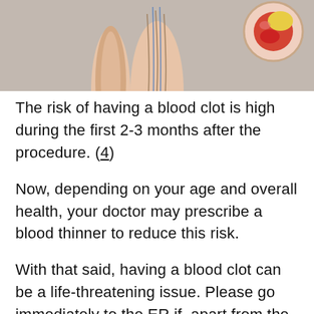[Figure (illustration): Medical illustration showing lower body anatomy with legs and a cross-sectional view of a blood vessel or clot in the upper right corner, set against a gray background.]
The risk of having a blood clot is high during the first 2-3 months after the procedure. (4)
Now, depending on your age and overall health, your doctor may prescribe a blood thinner to reduce this risk.
With that said, having a blood clot can be a life-threatening issue. Please go immediately to the ER if, apart from the nighttime pain, you also experience (4):